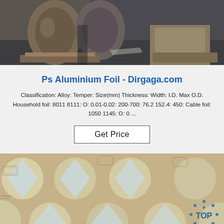[Figure (photo): Large rolls of aluminium foil on wooden pallets in a warehouse/factory floor, viewed from ground level.]
Ps Aluminium Foil - Dirgaga.com
Classification: Alloy: Temper: Size(mm) Thickness: Width: I.D. Max O.D. Household foil: 8011 8111: O: 0.01-0.02: 200-700: 76.2 152.4: 450: Cable foil: 1050 1145: O: 0 ...
Get Price
[Figure (photo): Sheet of circular aluminium foil discs with star/diamond patterns on a beige/brown background. A blue 'TOP' badge logo is visible in the bottom right.]